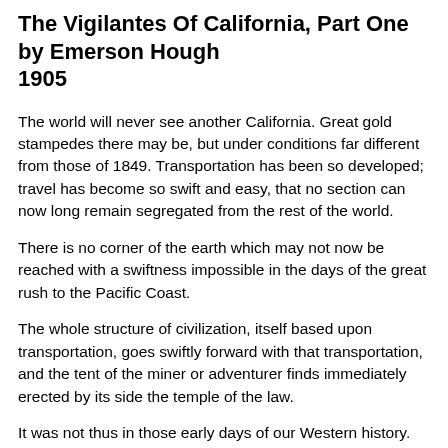The Vigilantes Of California, Part One
by Emerson Hough
1905
The world will never see another California. Great gold stampedes there may be, but under conditions far different from those of 1849. Transportation has been so developed; travel has become so swift and easy, that no section can now long remain segregated from the rest of the world.
There is no corner of the earth which may not now be reached with a swiftness impossible in the days of the great rush to the Pacific Coast.
The whole structure of civilization, itself based upon transportation, goes swiftly forward with that transportation, and the tent of the miner or adventurer finds immediately erected by its side the temple of the law.
It was not thus in those early days of our Western history. The law was left far behind by geography and wilderness